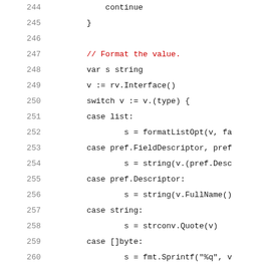Code listing lines 244-265: Go source code showing formatting logic with switch statement on type
244: continue
245: }
246: (blank)
247: // Format the value.
248: var s string
249: v := rv.Interface()
250: switch v := v.(type) {
251: case list:
252:     s = formatListOpt(v, fa
253: case pref.FieldDescriptor, pref
254:     s = string(v.(pref.Desc
255: case pref.Descriptor:
256:     s = string(v.FullName()
257: case string:
258:     s = strconv.Quote(v)
259: case []byte:
260:     s = fmt.Sprintf("%q", v
261: default:
262:     s = fmt.Sprint(v)
263: }
264: rs.recs = append(rs.recs, [2]st
265: }